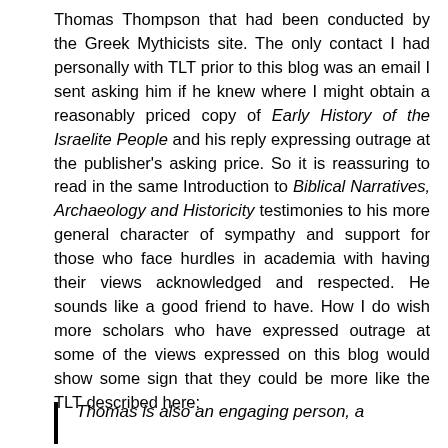Thomas Thompson that had been conducted by the Greek Mythicists site. The only contact I had personally with TLT prior to this blog was an email I sent asking him if he knew where I might obtain a reasonably priced copy of Early History of the Israelite People and his reply expressing outrage at the publisher's asking price. So it is reassuring to read in the same Introduction to Biblical Narratives, Archaeology and Historicity testimonies to his more general character of sympathy and support for those who face hurdles in academia with having their views acknowledged and respected. He sounds like a good friend to have. How I do wish more scholars who have expressed outrage at some of the views expressed on this blog would show some sign that they could be more like the TLT described here:
Thomas is also an engaging person, a